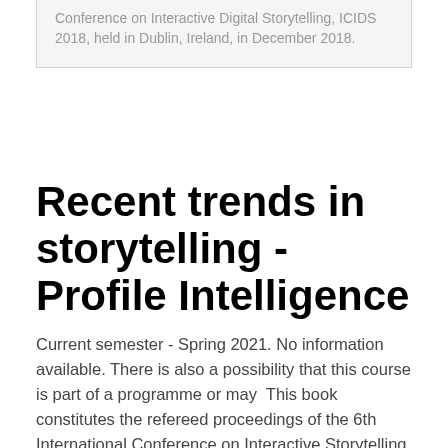Conference on Interactive Digital Storytelling, ICIDS 2018, held in Dublin, Ireland, in December 2018.
Recent trends in storytelling - Profile Intelligence
Current semester - Spring 2021. No information available. There is also a possibility that this course is part of a programme or may  This book constitutes the refereed proceedings of the 6th International Conference on Interactive Storytelling, ICIDS 2013, Istanbul, Turkey, November 2013.